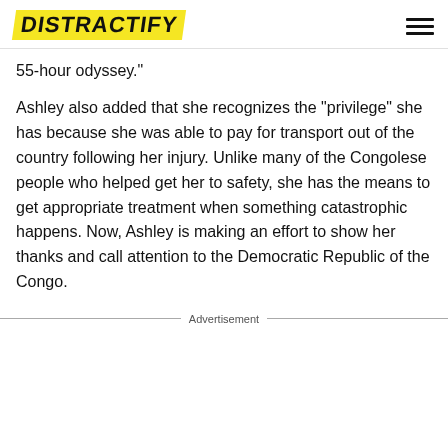DISTRACTIFY
55-hour odyssey."
Ashley also added that she recognizes the "privilege" she has because she was able to pay for transport out of the country following her injury. Unlike many of the Congolese people who helped get her to safety, she has the means to get appropriate treatment when something catastrophic happens. Now, Ashley is making an effort to show her thanks and call attention to the Democratic Republic of the Congo.
Advertisement